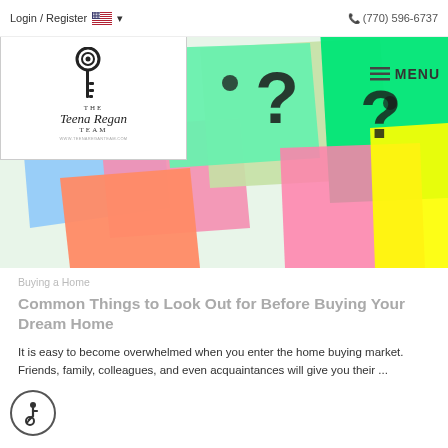Login / Register  🇺🇸 ▾      (770) 596-6737
[Figure (logo): The Teena Regan Team logo with a decorative key icon and text 'THE Teena Regan TEAM www.TeenaReganTeam.com']
[Figure (photo): Colorful sticky notes in green, pink, blue, orange, and yellow with question marks drawn on them in black marker]
Buying a Home
Common Things to Look Out for Before Buying Your Dream Home
It is easy to become overwhelmed when you enter the home buying market. Friends, family, colleagues, and even acquaintances will give you their ...